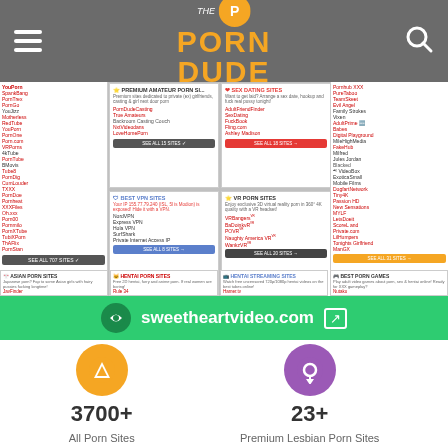The Porn Dude - header with logo, hamburger menu, search icon
[Figure (screenshot): Screenshot of ThePornDude website showing a grid of porn site categories including Premium Amateur Porn Sites, Sex Dating Sites, Best VPN Sites, VR Porn Sites, Asian Porn Sites, Hentai Porn Sites, Hentai Streaming Sites, Best Porn Games, and a left column listing individual porn sites]
[Figure (infographic): Green advertisement banner for sweetheartvideo.com with external link icon]
sweetheartvideo.com
3700+
All Porn Sites
23+
Premium Lesbian Porn Sites